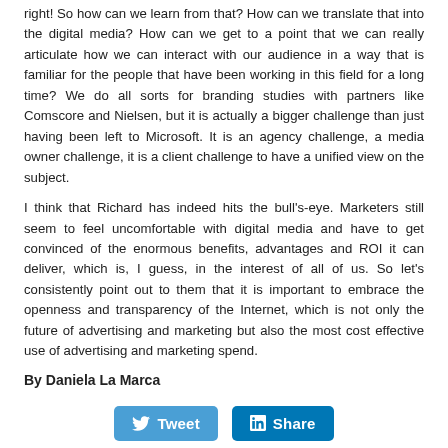right! So how can we learn from that? How can we translate that into the digital media? How can we get to a point that we can really articulate how we can interact with our audience in a way that is familiar for the people that have been working in this field for a long time? We do all sorts for branding studies with partners like Comscore and Nielsen, but it is actually a bigger challenge than just having been left to Microsoft. It is an agency challenge, a media owner challenge, it is a client challenge to have a unified view on the subject.
I think that Richard has indeed hits the bull's-eye. Marketers still seem to feel uncomfortable with digital media and have to get convinced of the enormous benefits, advantages and ROI it can deliver, which is, I guess, in the interest of all of us. So let's consistently point out to them that it is important to embrace the openness and transparency of the Internet, which is not only the future of advertising and marketing but also the most cost effective use of advertising and marketing spend.
By Daniela La Marca
[Figure (other): Two social media sharing buttons: a Twitter 'Tweet' button and a LinkedIn 'Share' button]